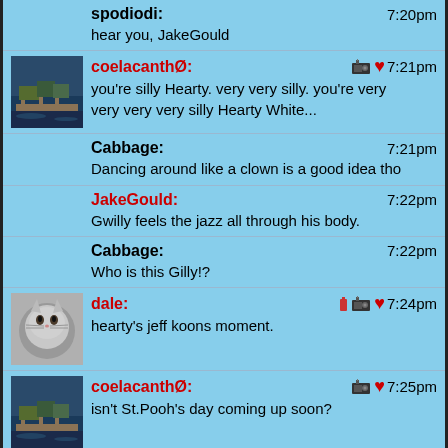spodiodi: 7:20pm
hear you, JakeGould
coelacanthØ: 7:21pm
you're silly Hearty. very very silly. you're very very very very silly Hearty White...
Cabbage: 7:21pm
Dancing around like a clown is a good idea tho
JakeGould: 7:22pm
Gwilly feels the jazz all through his body.
Cabbage: 7:22pm
Who is this Gilly!?
dale: 7:24pm
hearty's jeff koons moment.
coelacanthØ: 7:25pm
isn't St.Pooh's day coming up soon?
JakeGould: 7:25pm
Gwilly Edmondez ubu.com...
ultradamno: 7:26pm
And right when you take it off is when the